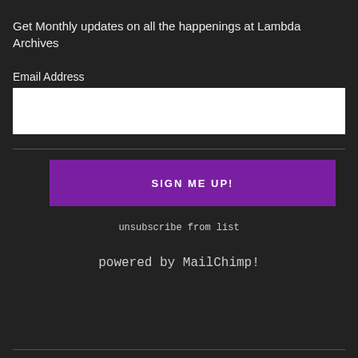Get Monthly updates on all the happenings at Lambda Archives
Email Address
[Figure (other): Empty white text input box for email address]
[Figure (other): Purple button labeled SIGN ME UP!]
unsubscribe from list
powered by MailChimp!